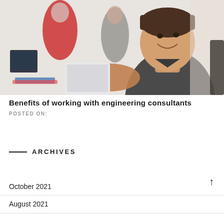[Figure (photo): A smiling man in a dark grey polo shirt holding a tablet/iPad, sitting at a desk with computers and other people in the background. Office or classroom setting.]
Benefits of working with engineering consultants
POSTED ON:
ARCHIVES
October 2021
August 2021